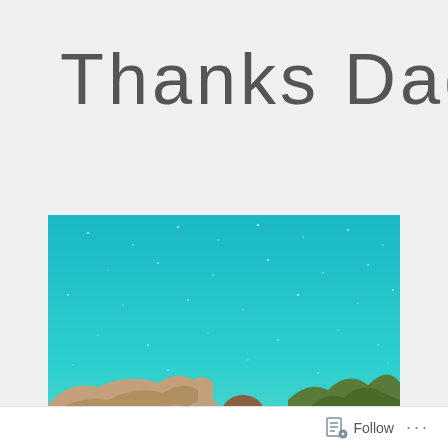Thanks Dad
[Figure (photo): Outdoor night or dusk scene with a teal/turquoise sky filled with faint stars. In the lower portion, rocky or sandy terrain is visible along with what appears to be a person's head/silhouette and some tree foliage in the lower right corner.]
Follow ...